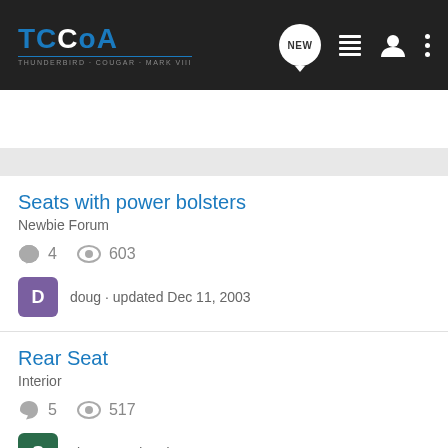TCCoA - THUNDERBIRD · COUGAR · MARK VIII
Search Community
Seats with power bolsters
Newbie Forum
4 comments · 603 views
doug · updated Dec 11, 2003
Rear Seat
Interior
5 comments · 517 views
slayer · updated Dec 19, 2003